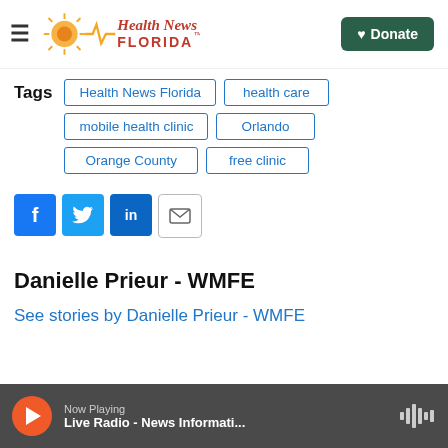[Figure (logo): Health News Florida logo with sun and heartbeat line icon]
Tags: Health News Florida, health care, mobile health clinic, Orlando, Orange County, free clinic
[Figure (infographic): Social share buttons: Facebook, Twitter, LinkedIn, Email]
Danielle Prieur - WMFE
See stories by Danielle Prieur - WMFE
Now Playing — Live Radio - News Informati...